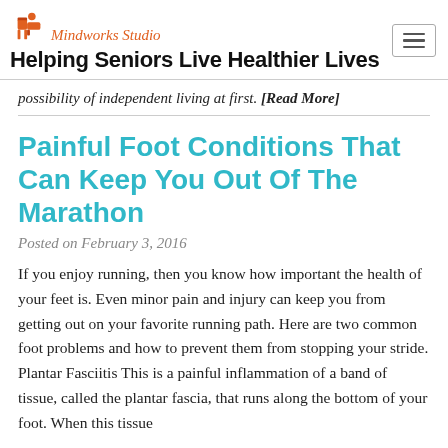Mindworks Studio – Helping Seniors Live Healthier Lives
possibility of independent living at first. [Read More]
Painful Foot Conditions That Can Keep You Out Of The Marathon
Posted on February 3, 2016
If you enjoy running, then you know how important the health of your feet is. Even minor pain and injury can keep you from getting out on your favorite running path. Here are two common foot problems and how to prevent them from stopping your stride. Plantar Fasciitis This is a painful inflammation of a band of tissue, called the plantar fascia, that runs along the bottom of your foot. When this tissue